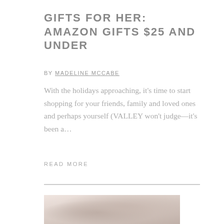GIFTS FOR HER: AMAZON GIFTS $25 AND UNDER
BY MADELINE MCCABE
With the holidays approaching, it’s time to start shopping for your friends, family and loved ones and perhaps yourself (VALLEY won’t judge—it’s been a…
READ MORE
[Figure (photo): Photo of a person wearing a knit hat and scarf, carrying a Fjällräven backpack and other bags, with winter holiday shopping items]